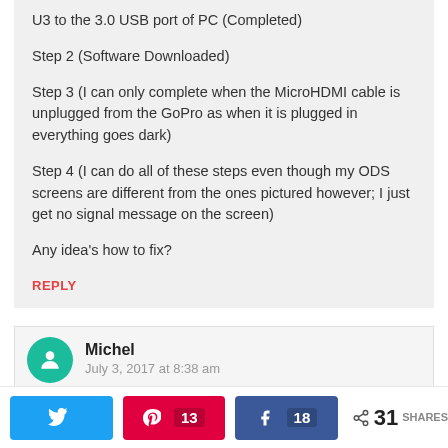U3 to the 3.0 USB port of PC (Completed)
Step 2 (Software Downloaded)
Step 3 (I can only complete when the MicroHDMI cable is unplugged from the GoPro as when it is plugged in everything goes dark)
Step 4 (I can do all of these steps even though my ODS screens are different from the ones pictured however; I just get no signal message on the screen)
Any idea's how to fix?
REPLY
Michel
July 3, 2017 at 8:38 am
31 SHARES | Twitter | Pinterest 13 | Facebook 18